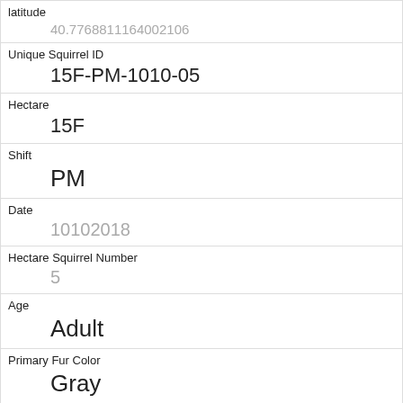| Field | Value |
| --- | --- |
| latitude | 40.7768811164002106 |
| Unique Squirrel ID | 15F-PM-1010-05 |
| Hectare | 15F |
| Shift | PM |
| Date | 10102018 |
| Hectare Squirrel Number | 5 |
| Age | Adult |
| Primary Fur Color | Gray |
| Highlight Fur Color |  |
| Combination of Primary and Highlight Color | Gray+ |
| Color notes |  |